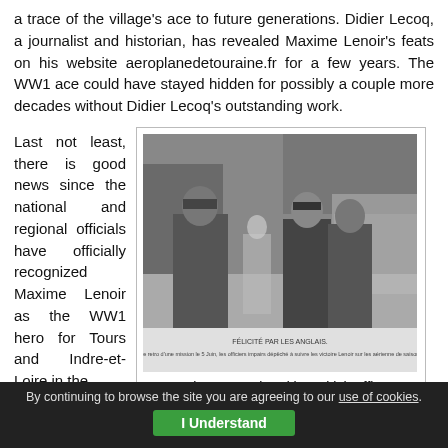a trace of the village's ace to future generations. Didier Lecoq, a journalist and historian, has revealed Maxime Lenoir's feats on his website aeroplanedetouraine.fr for a few years. The WW1 ace could have stayed hidden for possibly a couple more decades without Didier Lecoq's outstanding work.
Last not least, there is good news since the national and regional officials have officially recognized Maxime Lenoir as the WW1 hero for Tours and Indre-et-Loire in the
[Figure (photo): Black and white historical photograph showing military officers, with caption text in French at the bottom of the image.]
Lenoir congratulated by British officers
By continuing to browse the site you are agreeing to our use of cookies. I Understand